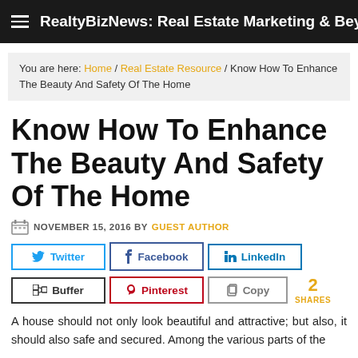RealtyBizNews: Real Estate Marketing & Beyond
You are here: Home / Real Estate Resource / Know How To Enhance The Beauty And Safety Of The Home
Know How To Enhance The Beauty And Safety Of The Home
NOVEMBER 15, 2016 BY GUEST AUTHOR
[Figure (other): Social share buttons: Twitter, Facebook, LinkedIn, Buffer, Pinterest, Copy. Shows 2 SHARES.]
A house should not only look beautiful and attractive; but also, it should also safe and secured. Among the various parts of the